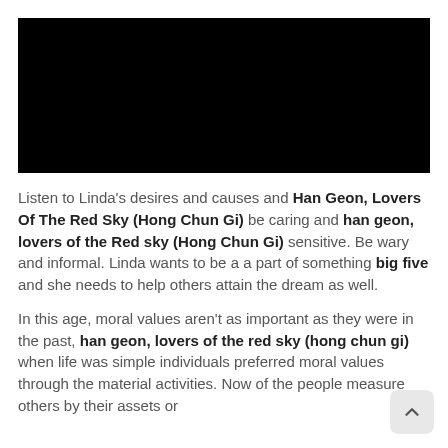[Figure (photo): Black rectangle image placeholder at top of page]
Listen to Linda's desires and causes and Han Geon, Lovers Of The Red Sky (Hong Chun Gi) be caring and han geon, lovers of the Red sky (Hong Chun Gi) sensitive. Be wary and informal. Linda wants to be a a part of something big five and she needs to help others attain the dream as well.
In this age, moral values aren't as important as they were in the past, han geon, lovers of the red sky (hong chun gi) when life was simple individuals preferred moral values through the material activities. Now of the people measure others by their assets or